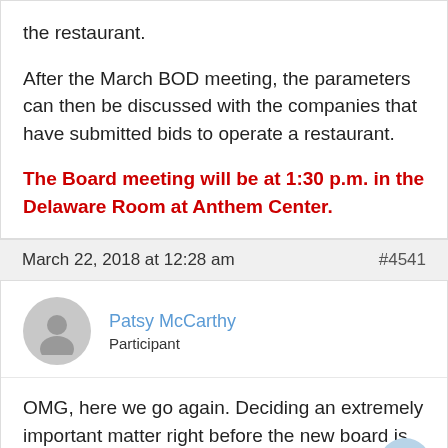the restaurant.
After the March BOD meeting, the parameters can then be discussed with the companies that have submitted bids to operate a restaurant.
The Board meeting will be at 1:30 p.m. in the Delaware Room at Anthem Center.
March 22, 2018 at 12:28 am    #4541
Patsy McCarthy
Participant
OMG, here we go again.  Deciding an extremely important matter right before the new board is elected.  We've waited this long, why not a little while longer?  This is